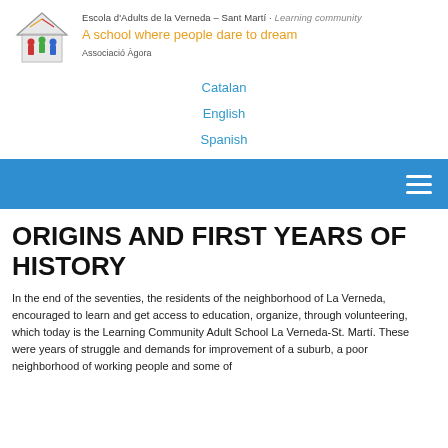[Figure (logo): Escola d'Adults de la Verneda logo — a house shape with colorful people figures inside]
Escola d'Adults de la Verneda – Sant Martí · Learning community
A school where people dare to dream
Associació Àgora
Catalan
English
Spanish
[Figure (other): Blue navigation bar with hamburger menu icon on the right]
ORIGINS AND FIRST YEARS OF HISTORY
In the end of the seventies, the residents of the neighborhood of La Verneda, encouraged to learn and get access to education, organize, through volunteering, which today is the Learning Community Adult School La Verneda-St. Martí. These were years of struggle and demands for improvement of a suburb, a poor neighborhood of working people and some of